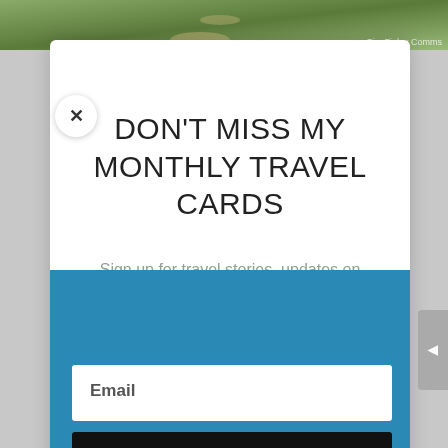[Figure (photo): Top banner photo strip showing an outdoor path or trail scene with greenery]
DON'T MISS MY MONTHLY TRAVEL CARDS
Sign up for travel stories, updates on exciting new destinations and tools to make your travel planning easier!
Email
Sign Up!